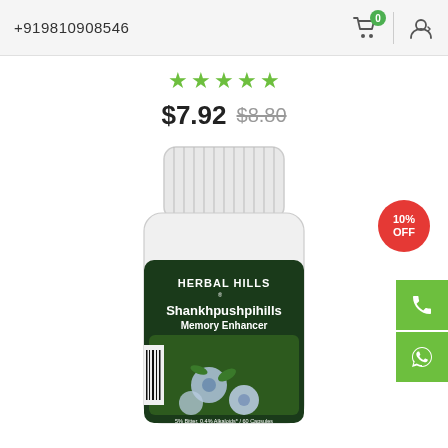+919810908546
★★★★★
$7.92  $8.80
[Figure (photo): Herbal Hills Shankhpushpihills Memory Enhancer supplement bottle with white cap and dark label showing blue flowers, with barcode visible on side]
10% OFF
Phone icon (call button)
WhatsApp icon (message button)